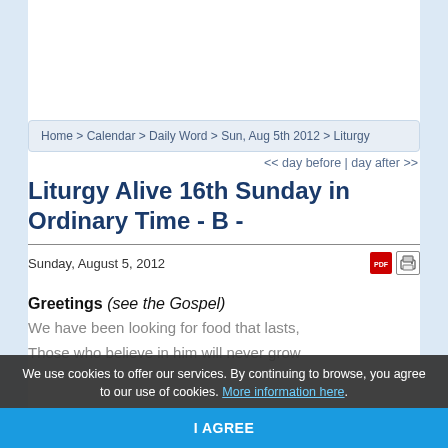Home > Calendar > Daily Word > Sun, Aug 5th 2012 > Liturgy
<< day before | day after >>
Liturgy Alive 16th Sunday in Ordinary Time - B -
Sunday, August 5, 2012
Greetings (see the Gospel)
We have been looking for food that lasts,
Those who believe in him will never grow
We use cookies to offer our services. By continuing to browse, you agree to our use of cookies. More information here.
I AGREE